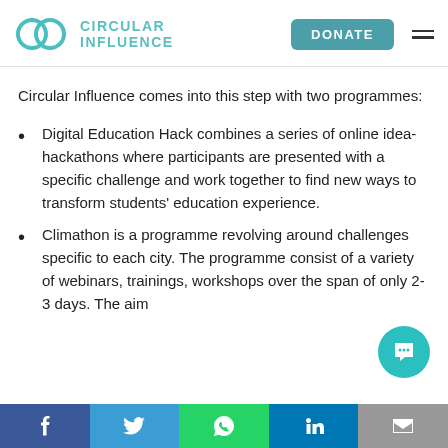CIRCULAR INFLUENCE | DONATE
Circular Influence comes into this step with two programmes:
Digital Education Hack combines a series of online idea-hackathons where participants are presented with a specific challenge and work together to find new ways to transform students' education experience.
Climathon is a programme revolving around challenges specific to each city. The programme consist of a variety of webinars, trainings, workshops over the span of only 2-3 days. The aim
f  Twitter  WhatsApp  in  Email